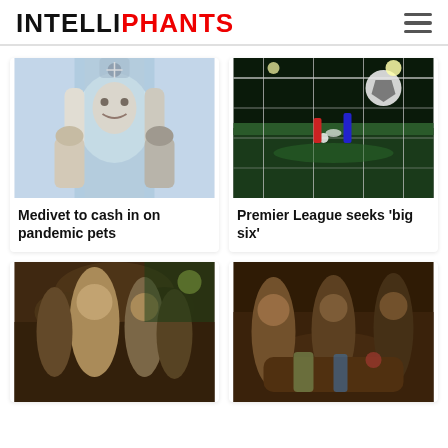INTELLIPHANTS
[Figure (photo): Veterinarian holding a dog and a cat]
Medivet to cash in on pandemic pets
[Figure (photo): Soccer goal net with a night match in the background]
Premier League seeks 'big six'
[Figure (photo): Crowd of people celebrating outdoors at night]
[Figure (photo): People dining and drinking at a restaurant table]